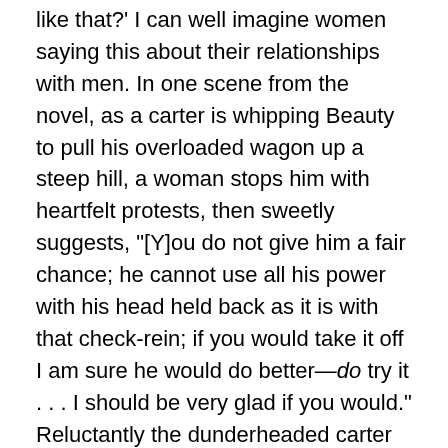like that?' I can well imagine women saying this about their relationships with men. In one scene from the novel, as a carter is whipping Beauty to pull his overloaded wagon up a steep hill, a woman stops him with heartfelt protests, then sweetly suggests, "[Y]ou do not give him a fair chance; he cannot use all his power with his head held back as it is with that check-rein; if you would take it off I am sure he would do better—do try it . . . I should be very glad if you would." Reluctantly the dunderheaded carter takes her advice and, now given more liberty, Beauty does the job.
Am I reading too much into this depiction if I see a critique of imperialism, slavery, and even capitalism? Although women claimed dominion over the horse's welfare, that claim was thoroughly debated and